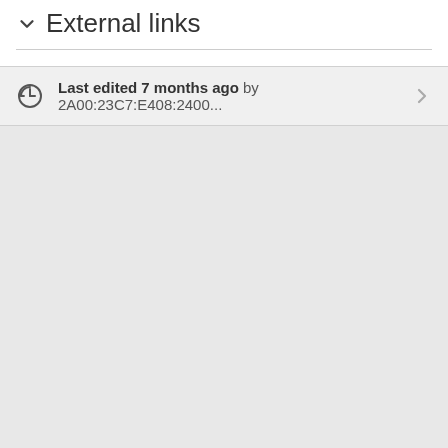External links
Last edited 7 months ago by 2A00:23C7:E408:2400...